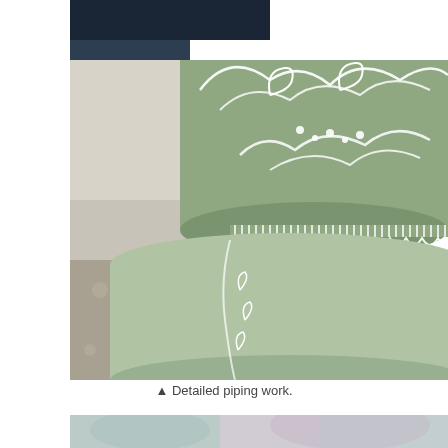[Figure (photo): Close-up photograph of a multi-tiered green fondant wedding cake with elaborate white royal icing piping work, scrolls, dots, and lace-like decorations between tiers. A floral patterned fabric or tablecloth is visible in the lower left background, and a dark blue surface is at the top left.]
▲ Detailed piping work.
[Figure (photo): Partial view of another photograph at the bottom of the page, showing a blurred background with soft purple and teal colors, likely another cake or confectionery item.]